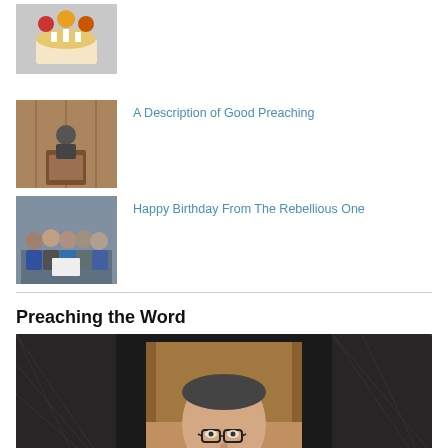[Figure (photo): Small thumbnail of food/flowers arrangement (cake with fruit)]
[Figure (photo): Small thumbnail of a person at a podium/lectern in a wood-paneled room]
A Description of Good Preaching
[Figure (photo): Small thumbnail of a group of people posing together, some holding papers]
Happy Birthday From The Rebellious One
Preaching the Word
[Figure (photo): Large photo of a man wearing glasses, on dark background with decorative border]